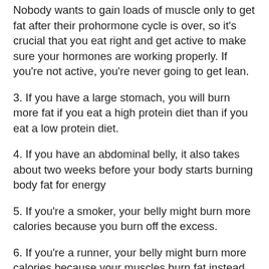Nobody wants to gain loads of muscle only to get fat after their prohormone cycle is over, so it's crucial that you eat right and get active to make sure your hormones are working properly. If you're not active, you're never going to get lean.
3. If you have a large stomach, you will burn more fat if you eat a high protein diet than if you eat a low protein diet.
4. If you have an abdominal belly, it also takes about two weeks before your body starts burning body fat for energy
5. If you're a smoker, your belly might burn more calories because you burn off the excess.
6. If you're a runner, your belly might burn more calories because your muscles burn fat instead of oxygen.